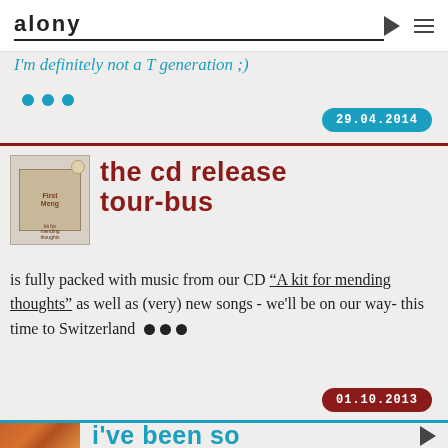alony
I'm definitely not a T generation ;)
29.04.2014
The CD release tour-bus
is fully packed with music from our CD "A kit for mending thoughts" as well as (very) new songs - we'll be on our way- this time to Switzerland
01.10.2013
I've been so